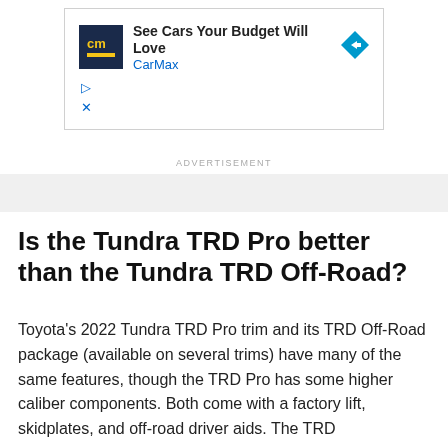[Figure (other): CarMax advertisement banner with CarMax logo, headline 'See Cars Your Budget Will Love', brand name 'CarMax', and a blue diamond arrow icon]
ADVERTISEMENT
Is the Tundra TRD Pro better than the Tundra TRD Off-Road?
Toyota's 2022 Tundra TRD Pro trim and its TRD Off-Road package (available on several trims) have many of the same features, though the TRD Pro has some higher caliber components. Both come with a factory lift, skidplates, and off-road driver aids. The TRD